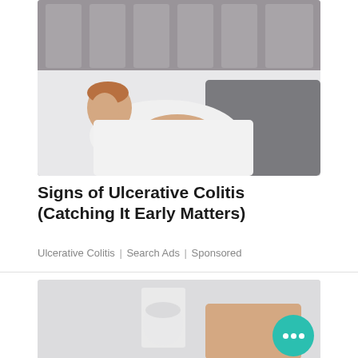[Figure (photo): A man lying on a bed in pain, clutching his stomach with his hand, wearing a white t-shirt. He appears to be experiencing abdominal discomfort. Gray headboard visible behind him.]
Signs of Ulcerative Colitis (Catching It Early Matters)
Ulcerative Colitis | Search Ads | Sponsored
[Figure (photo): Close-up photo of what appears to be a glass or transparent container being held, suggesting a medical or health-related product or beverage.]